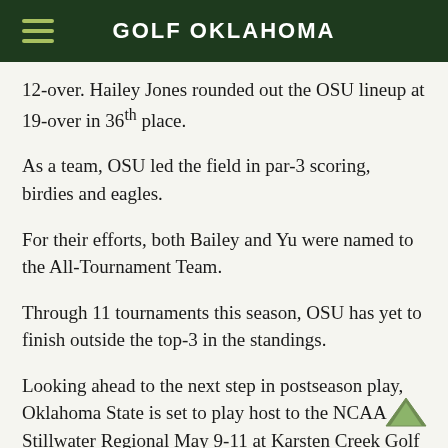GOLF OKLAHOMA
12-over. Hailey Jones rounded out the OSU lineup at 19-over in 36th place.
As a team, OSU led the field in par-3 scoring, birdies and eagles.
For their efforts, both Bailey and Yu were named to the All-Tournament Team.
Through 11 tournaments this season, OSU has yet to finish outside the top-3 in the standings.
Looking ahead to the next step in postseason play, Oklahoma State is set to play host to the NCAA Stillwater Regional May 9-11 at Karsten Creek Golf Club. Spectators are welcome at the three-day event and there will be no admission